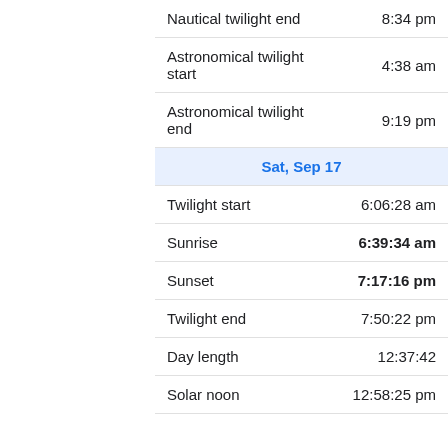| Event | Time |
| --- | --- |
| Nautical twilight end | 8:34 pm |
| Astronomical twilight start | 4:38 am |
| Astronomical twilight end | 9:19 pm |
| Sat, Sep 17 |  |
| Twilight start | 6:06:28 am |
| Sunrise | 6:39:34 am |
| Sunset | 7:17:16 pm |
| Twilight end | 7:50:22 pm |
| Day length | 12:37:42 |
| Solar noon | 12:58:25 pm |
[Figure (other): Topgolf advertisement banner with logo, 'Food & Fun For Everyone' text, and navigation arrow icon]